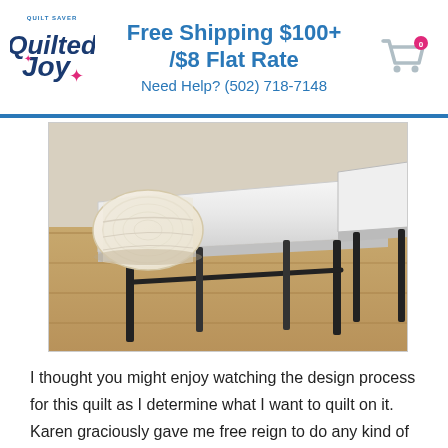Free Shipping $100+ /$8 Flat Rate
Need Help? (502) 718-7148
[Figure (photo): A roll of white quilt batting resting on a folding table with black metal legs, with a second table visible in the background, on a wooden floor.]
I thought you might enjoy watching the design process for this quilt as I determine what I want to quilt on it. Karen graciously gave me free reign to do any kind of custom quilting I want and she is planning on entering it into a local show. That always makes